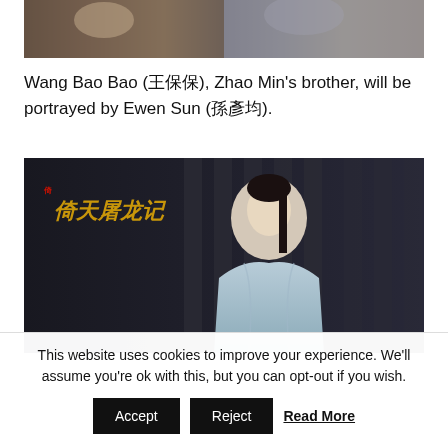[Figure (photo): Partial view of actors in period costume from a Chinese historical drama, cropped at top of page]
Wang Bao Bao (王保保), Zhao Min’s brother, will be portrayed by Ewen Sun (孙安可).
[Figure (photo): Actor in light blue traditional Chinese robes with long black hair, standing in front of a dark background with Chinese calligraphy text reading 倚天屠龙记 (The Heaven Sword and Dragon Saber) in gold on the left side]
This website uses cookies to improve your experience. We’ll assume you’re ok with this, but you can opt-out if you wish.
Accept | Reject | Read More